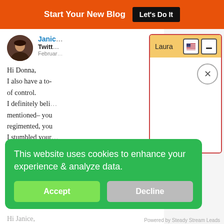Start Your New Blog  Let's Do It
[Figure (screenshot): Blog comment section showing author Janice with avatar, Twitter platform link, February date, and comment text: Hi Donna, I also have a to- of control. I definitely belie mentioned– you regimented, you I stumbled youn]
[Figure (screenshot): Laura popup overlay with orange/yellow header bar, US flag icon, minimize button, and X close button]
This website uses cookies to enhance your experience & analyze data.
Accept  Decline
Powered by Steady Stream Leads